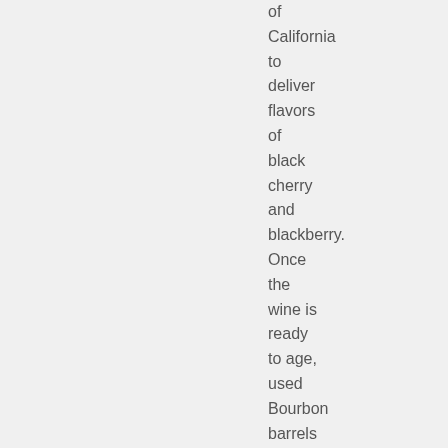of California to deliver flavors of black cherry and blackberry. Once the wine is ready to age, used Bourbon barrels add nuances of toasty oak, brown sugar